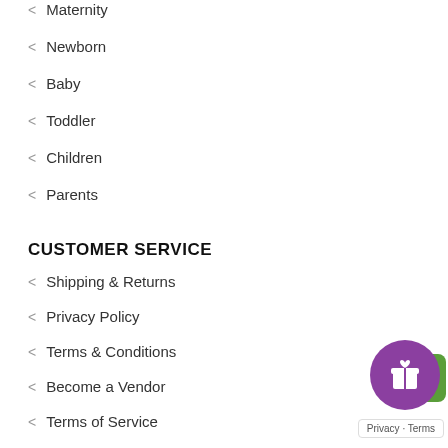Maternity
Newborn
Baby
Toddler
Children
Parents
CUSTOMER SERVICE
Shipping & Returns
Privacy Policy
Terms & Conditions
Become a Vendor
Terms of Service